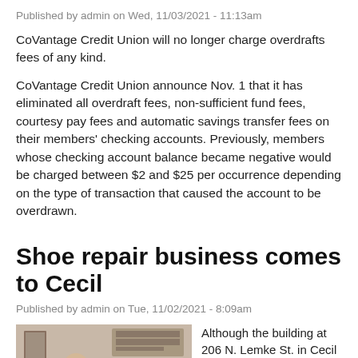Published by admin on Wed, 11/03/2021 - 11:13am
CoVantage Credit Union will no longer charge overdrafts fees of any kind.
CoVantage Credit Union announce Nov. 1 that it has eliminated all overdraft fees, non-sufficient fund fees, courtesy pay fees and automatic savings transfer fees on their members' checking accounts. Previously, members whose checking account balance became negative would be charged between $2 and $25 per occurrence depending on the type of transaction that caused the account to be overdrawn.
Shoe repair business comes to Cecil
Published by admin on Tue, 11/02/2021 - 8:09am
[Figure (photo): Two people standing inside a shop, with shelving and items visible in the background.]
Although the building at 206 N. Lemke St. in Cecil shows the former Main Event Banquet Hall logo, it has a